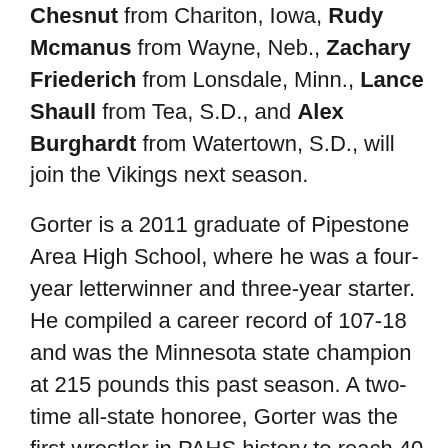Chesnut from Chariton, Iowa, Rudy Mcmanus from Wayne, Neb., Zachary Friederich from Lonsdale, Minn., Lance Shaull from Tea, S.D., and Alex Burghardt from Watertown, S.D., will join the Vikings next season.
Gorter is a 2011 graduate of Pipestone Area High School, where he was a four-year letterwinner and three-year starter. He compiled a career record of 107-18 and was the Minnesota state champion at 215 pounds this past season. A two-time all-state honoree, Gorter was the first wrestler in PAHS history to reach 40 wins in a season after recording a 42-1 mark during his senior campaign. He was also the state runner-up at 215 pounds as a junior. Gorter is expected to wrestle at 197 pounds for the Vikings.
“Jon is a great kid who still hasn’t reached his full potential in wrestling,” Reitmeier said. “He has speed on the mat, and is exceptional at going forward and being offensive the whole time. Jon is still just learning the sport, which is